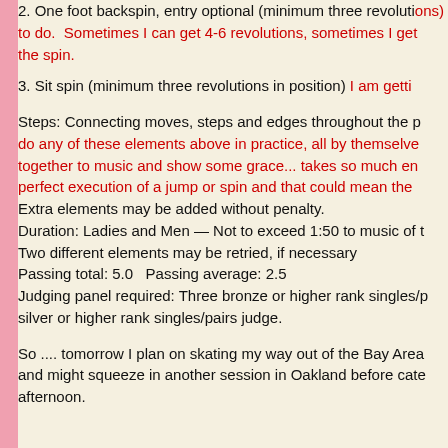2. One foot backspin, entry optional (minimum three revolutions) to do. Sometimes I can get 4-6 revolutions, sometimes I get the spin.
3. Sit spin (minimum three revolutions in position) I am getting...
Steps: Connecting moves, steps and edges throughout the p... do any of these elements above in practice, all by themselves... together to music and show some grace... takes so much en... perfect execution of a jump or spin and that could mean the...
Extra elements may be added without penalty.
Duration: Ladies and Men — Not to exceed 1:50 to music of t...
Two different elements may be retried, if necessary
Passing total: 5.0   Passing average: 2.5
Judging panel required: Three bronze or higher rank singles/p... silver or higher rank singles/pairs judge.
So .... tomorrow I plan on skating my way out of the Bay Area and might squeeze in another session in Oakland before catching a flight this afternoon.